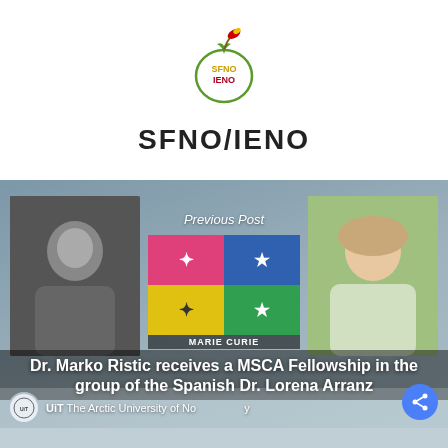[Figure (logo): SFNO/IENO apple logo with colorful leaves]
SFNO/IENO
[Figure (photo): Banner image showing Dr. Marko Ristic (left, grayscale photo), Marie Curie logos (center), and Dr. Lorena Arranz (right, color photo), with text overlay: Previous Post / Dr. Marko Ristic receives a MSCA Fellowship in the group of the Spanish Dr. Lorena Arranz, and UiT The Arctic University of Norway logo at bottom.]